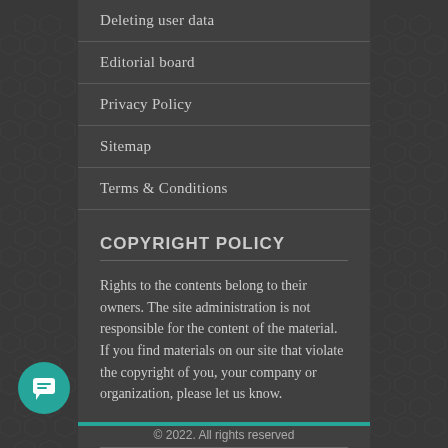Deleting user data
Editorial board
Privacy Policy
Sitemap
Terms & Conditions
COPYRIGHT POLICY
Rights to the contents belong to their owners. The site administration is not responsible for the content of the material. If you find materials on our site that violate the copyright of you, your company or organization, please let us know.
© 2022. All rights reserved